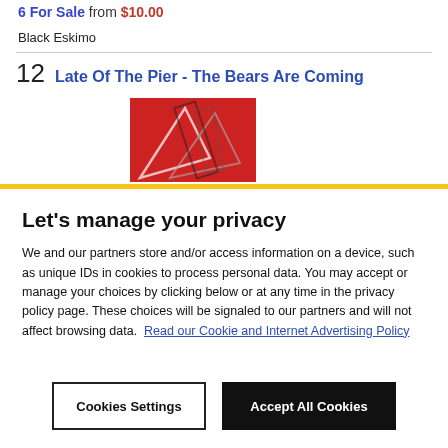6 For Sale from $10.00
Black Eskimo
12  Late Of The Pier - The Bears Are Coming
[Figure (photo): Album cover with red background and geometric/angular graphic design]
Let's manage your privacy
We and our partners store and/or access information on a device, such as unique IDs in cookies to process personal data. You may accept or manage your choices by clicking below or at any time in the privacy policy page. These choices will be signaled to our partners and will not affect browsing data.  Read our Cookie and Internet Advertising Policy
Cookies Settings
Accept All Cookies